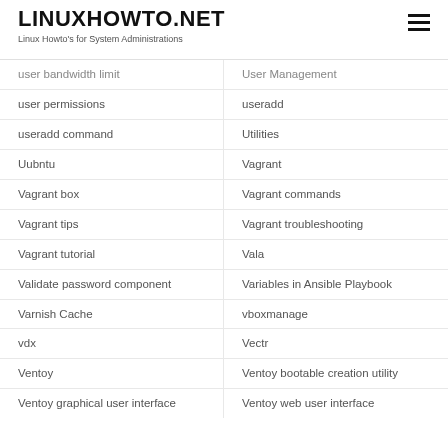LINUXHOWTO.NET
Linux Howto's for System Administrations
user bandwidth limit
user permissions
useradd command
Uubntu
Vagrant box
Vagrant tips
Vagrant tutorial
Validate password component
Varnish Cache
vdx
Ventoy
Ventoy graphical user interface
User Management
useradd
Utilities
Vagrant
Vagrant commands
Vagrant troubleshooting
Vala
Variables in Ansible Playbook
vboxmanage
Vectr
Ventoy bootable creation utility
Ventoy web user interface